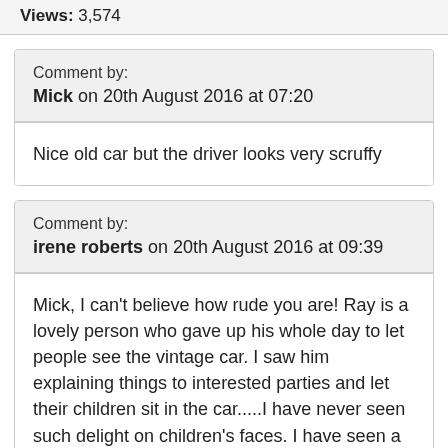Views: 3,574
Comment by:
Mick on 20th August 2016 at 07:20
Nice old car but the driver looks very scruffy
Comment by:
irene roberts on 20th August 2016 at 09:39
Mick, I can't believe how rude you are! Ray is a lovely person who gave up his whole day to let people see the vintage car. I saw him explaining things to interested parties and let their children sit in the car.....I have never seen such delight on children's faces. I have seen a lot of people